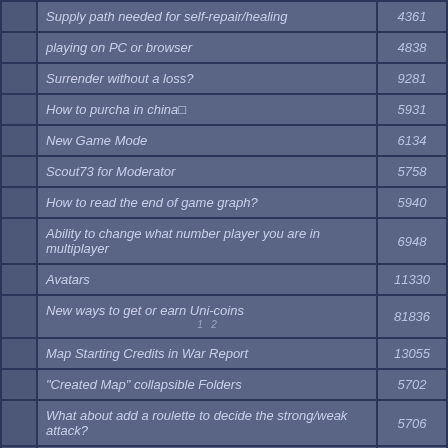|  | Topic | Views |
| --- | --- | --- |
|  | Supply path needed for self-repair/healing | 4361 |
|  | playing on PC or browser | 4838 |
|  | Surrender without a loss? | 9281 |
|  | How to purcha in china  | 5931 |
|  | New Game Mode | 6134 |
|  | Scout73 for Moderator | 5758 |
|  | How to read the end of game graph? | 5940 |
|  | Ability to change what number player you are in multiplayer | 6948 |
|  | Avatars | 11330 |
|  | New ways to get or earn Uni-coins [1 2] | 81836 |
|  | Map Starting Credits in War Report | 13055 |
|  | "Created Map" collapsible Folders | 5702 |
|  | What about add a roulette to decide the strong/weak attack? | 5706 |
|  | Condemnation of Mortals | 10321 |
|  | Invasion of Privacy | 6570 |
|  | Bug? Or cheat? | 6119 |